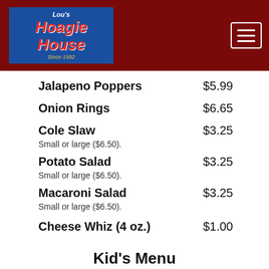[Figure (logo): Lou's Hoagie House logo on blue background with red text, since 1992]
Jalapeno Poppers $5.99
Onion Rings $6.65
Cole Slaw $3.25. Small or large ($6.50).
Potato Salad $3.25. Small or large ($6.50).
Macaroni Salad $3.25. Small or large ($6.50).
Cheese Whiz (4 oz.) $1.00
Kid's Menu
For children 12 & under. Served with French fries.
Kid's Hamburger $6
Kid's Cheeseburger $6.99